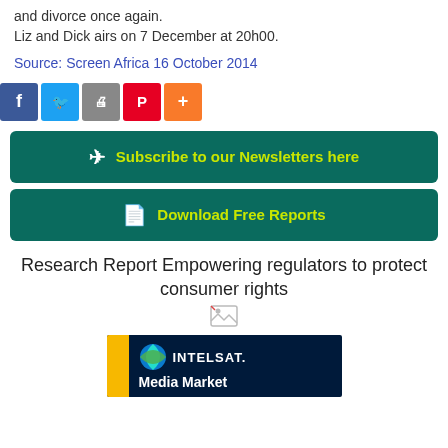and divorce once again.
Liz and Dick airs on 7 December at 20h00.
Source: Screen Africa 16 October 2014
[Figure (other): Social media share buttons: Facebook, Twitter, Google+, Pinterest, More]
[Figure (other): Subscribe to our Newsletters here button]
[Figure (other): Download Free Reports button]
Research Report Empowering regulators to protect consumer rights
[Figure (other): Broken image placeholder]
[Figure (other): Intelsat Media Market advertisement banner with yellow stripe, Intelsat logo, and Media Market heading on dark navy background]